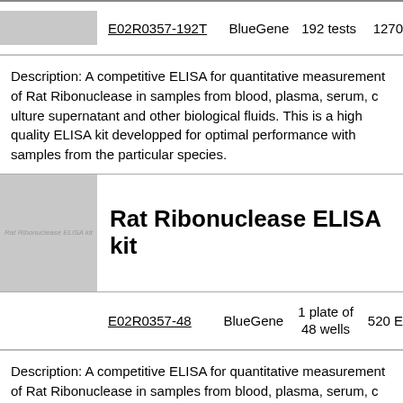| Cat# | Brand | Qty | Price |
| --- | --- | --- | --- |
| E02R0357-192T | BlueGene | 192 tests | 1270 |
Description: A competitive ELISA for quantitative measurement of Rat Ribonuclease in samples from blood, plasma, serum, culture supernatant and other biological fluids. This is a high quality ELISA kit developped for optimal performance with samples from the particular species.
[Figure (photo): Product image placeholder for Rat Ribonuclease ELISA kit showing gray thumbnail with small italic text]
Rat Ribonuclease ELISA kit
| Cat# | Brand | Qty | Price |
| --- | --- | --- | --- |
| E02R0357-48 | BlueGene | 1 plate of 48 wells | 520 E |
Description: A competitive ELISA for quantitative measurement of Rat Ribonuclease in samples from blood, plasma, serum, c